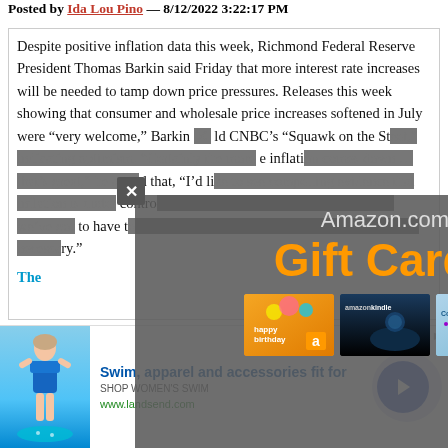Posted by Ida Lou Pino — 8/12/2022 3:22:17 PM
Despite positive inflation data this week, Richmond Federal Reserve President Thomas Barkin said Friday that more interest rate increases will be needed to tamp down price pressures. Releases this week showing that consumer and wholesale price increases softened in July were “very welcome,” Barkin told CNBC’s “Squawk on the Street,” indicating optimism. “Certainly the more inflation comes down … that’s great,” he added that, “I’d like to see compelling evidence that inflation is under control and I think we’re committed to do what we’ve got to have to do to get inflation under control, whatever that’s necessary.”
The
[Figure (screenshot): Amazon.com Gift Cards advertisement overlay with three card images (happy birthday, Amazon Kindle, Congratulations) on a grey background]
[Figure (screenshot): Bottom banner advertisement for Lands End swim, apparel and accessories showing a woman in swimwear with text 'Swim, apparel and accessories fit for', 'SHOP WOMEN'S SWIM', 'www.landsend.com' and a blue navigation arrow button]